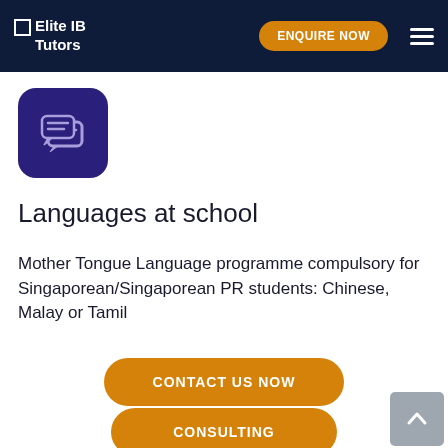Elite IB Tutors — ENQUIRE NOW
[Figure (illustration): Purple rounded square icon with two overlapping speech/chat bubbles containing horizontal lines, representing language or communication]
Languages at school
Mother Tongue Language programme compulsory for Singaporean/Singaporean PR students: Chinese, Malay or Tamil
CONTACT US NOW
CONSULTING